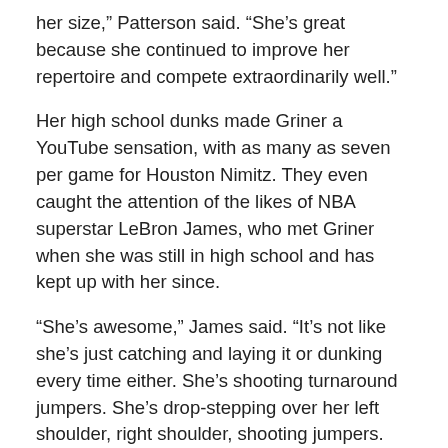her size,” Patterson said. “She’s great because she continued to improve her repertoire and compete extraordinarily well.”
Her high school dunks made Griner a YouTube sensation, with as many as seven per game for Houston Nimitz. They even caught the attention of the likes of NBA superstar LeBron James, who met Griner when she was still in high school and has kept up with her since.
“She’s awesome,” James said. “It’s not like she’s just catching and laying it or dunking every time either. She’s shooting turnaround jumpers. She’s drop-stepping over her left shoulder, right shoulder, shooting jumpers. She’s got a fadeaway jumper. And she’s dunking the ball, too. She’s great.”
Griner still hears plenty of jeers and taunts from opposing fans during games. And there is no shortage of insults and insinuations about her on social media.